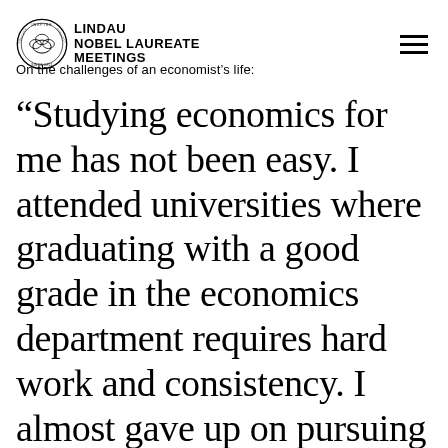LINDAU NOBEL LAUREATE MEETINGS
On the challenges of an economist's life:
“Studying economics for me has not been easy. I attended universities where graduating with a good grade in the economics department requires hard work and consistency. I almost gave up on pursuing post-graduate studies due to the hard work and sacrifice required to succeed, but I have benefitted immensely from the counsel and experiences of my teachers. I also come from a country where less